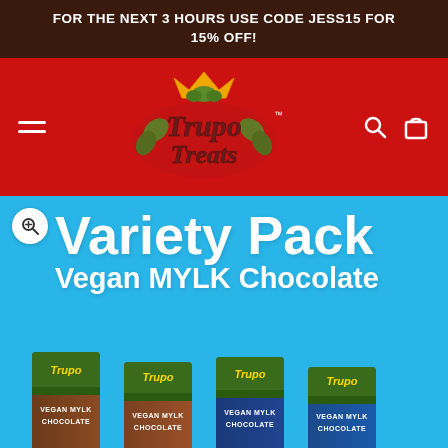For the next 3 hours use code JESS15 for 15% off!
[Figure (logo): Trupo Treats logo on red navigation header background with hamburger menu, search icon, and cart icon]
[Figure (photo): Variety Pack Vegan MYLK Chocolate product image on light blue background showing four Trupo Vegan Mylk Chocolate bars]